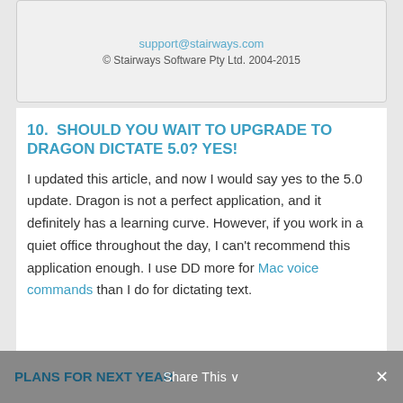support@stairways.com
© Stairways Software Pty Ltd. 2004-2015
10.  SHOULD YOU WAIT TO UPGRADE TO DRAGON DICTATE 5.0? YES!
I updated this article, and now I would say yes to the 5.0 update. Dragon is not a perfect application, and it definitely has a learning curve. However, if you work in a quiet office throughout the day, I can't recommend this application enough. I use DD more for Mac voice commands than I do for dictating text.
PLANS FOR NEXT YEAR